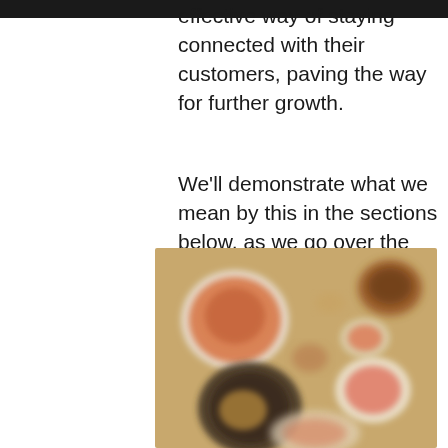effective way of staying connected with their customers, paving the way for further growth.
We'll demonstrate what we mean by this in the sections below, as we go over the benefits provided by social media as well as some tips on how to utilise the most popular platforms to their fullest potential.
[Figure (photo): Overhead view of multiple Korean or Asian dishes arranged on a table, including bowls with various food items, blurred/out-of-focus photography style]